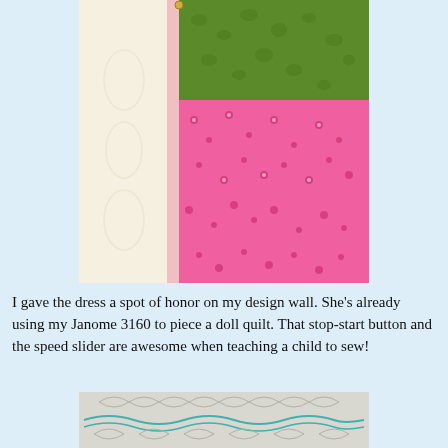[Figure (photo): A fabric piece pinned to a design wall, showing green patterned fabric on top and pink floral fabric below, with cream/white fabric on the left side.]
I gave the dress a spot of honor on my design wall. She's already using my Janome 3160 to piece a doll quilt. That stop-start button and the speed slider are awesome when teaching a child to sew!
[Figure (photo): Close-up of quilting stitching on white fabric with turquoise thread showing leaf/feather quilting patterns.]